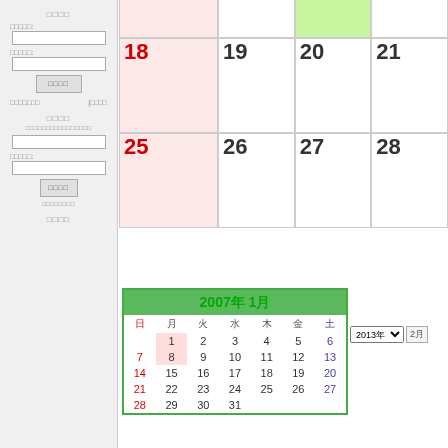[Figure (other): Calendar view showing dates 18-28 in a monthly grid layout with pink background for some cells and green highlight for date 20. Left sidebar has Japanese navigation labels and input fields.]
[Figure (other): Mini monthly calendar popup showing 2007年1月 (January 2007) with green header, dates 1-31 arranged in weeks, Sunday-Saturday columns.]
2013年 ∨  2月